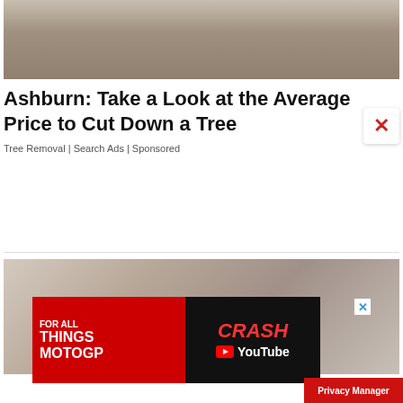[Figure (photo): Top portion of an outdoor scene showing rocks and gravel ground, partially cropped at top]
Ashburn: Take a Look at the Average Price to Cut Down a Tree
Tree Removal | Search Ads | Sponsored
[Figure (photo): Woman smiling and reclining in a chair receiving a cosmetic treatment with medical device tubes attached]
[Figure (screenshot): MotoGP advertisement banner: FOR ALL THINGS MOTOGP on red left side; CRASH YouTube on dark right side]
Privacy Manager